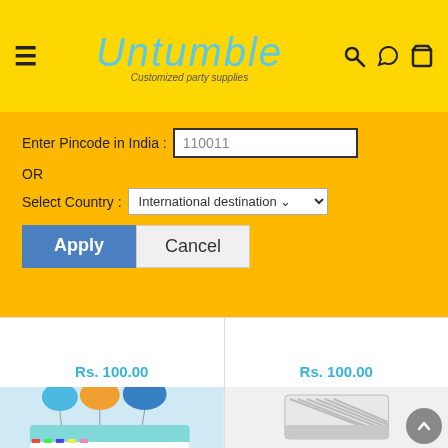Untumble — Customized party supplies
Enter Pincode in India : 110011
OR
Select Country : International destination
Apply | Cancel
Rs. 100.00
Rs. 100.00
[Figure (photo): Birthday cake with colorful balloons and dinosaur toys]
[Figure (photo): Package of striped candles or straws in a box]